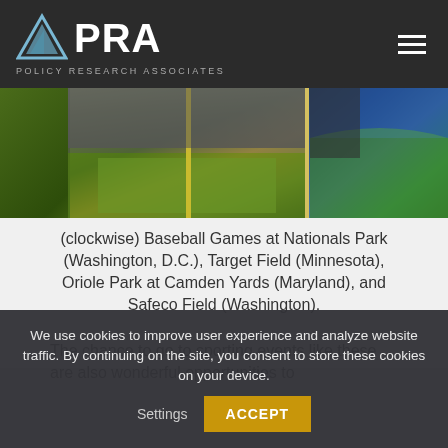PRA – Policy Research Associates
[Figure (photo): Two baseball stadium photos side by side: left showing a crowded stadium with yellow foul pole visible, right showing green field from upper deck perspective.]
(clockwise) Baseball Games at Nationals Park (Washington, D.C.), Target Field (Minnesota), Oriole Park at Camden Yards (Maryland), and Safeco Field (Washington).
The chance to go to sporting events like these are also wonderful opportunities to